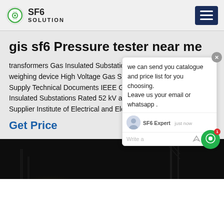SF6 SOLUTION
gis sf6 Pressure tester near me
transformers Gas Insulated Substations leakage test electronic weighing device High Voltage Gas Substation Testing | Products Supply Technical Documents IEEE Guide for High Voltage Gas Insulated Substations Rated 52 kV and Above C37.123 2016 Supplier Institute of Electrical and Electronics Engineers, Inc.
Get Price
[Figure (screenshot): Chat popup overlay with message: we can send you catalogue and price list for you choosing. Leave us your email or whatsapp. SF6 Expert - just now. Write a message area with like and attachment icons.]
[Figure (photo): Dark nighttime photo of electrical substation infrastructure with bright lights illuminating metal structures and towers.]